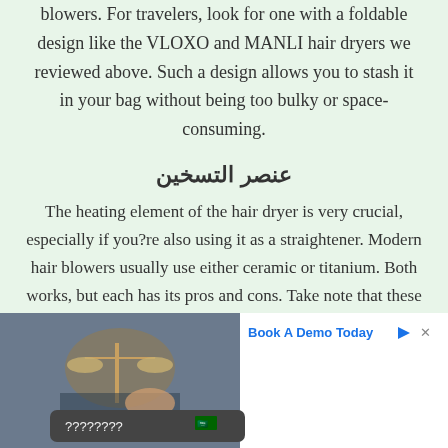blowers. For travelers, look for one with a foldable design like the VLOXO and MANLI hair dryers we reviewed above. Such a design allows you to stash it in your bag without being too bulky or space-consuming.
عنصر التسخين
The heating element of the hair dryer is very crucial, especially if you?re also using it as a straightener. Modern hair blowers usually use either ceramic or titanium. Both works, but each has its pros and cons. Take note that these materials are the coating of the
[Figure (screenshot): Advertisement banner at the bottom of the page showing a photo of legal scales and a person writing, with text 'Book A Demo Today' and an overlay widget showing question marks and a Saudi Arabia flag]